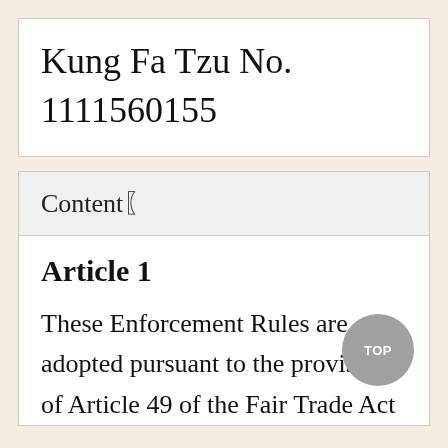Kung Fa Tzu No. 1111560155
Content【
Article 1
These Enforcement Rules are adopted pursuant to the provisions of Article 49 of the Fair Trade Act